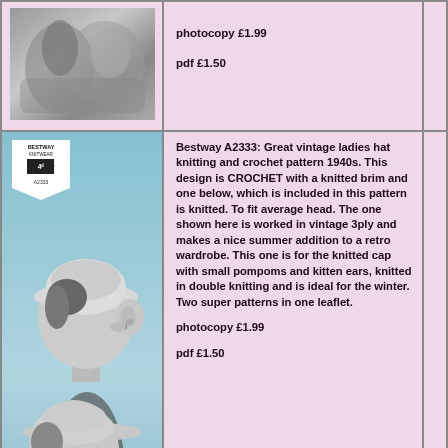[Figure (photo): Black and white photo of hands/gloves]
photocopy £1.99
pdf £1.50
[Figure (photo): Bestway Knitwear A2333 pattern cover showing two women in vintage 1940s hats]
Bestway A2333: Great vintage ladies hat knitting and crochet pattern 1940s. This design is CROCHET with a knitted brim and one below, which is included in this pattern is knitted. To fit average head. The one shown here is worked in vintage 3ply and makes a nice summer addition to a retro wardrobe. This one is for the knitted cap with small pompoms and kitten ears, knitted in double knitting and is ideal for the winter. Two super patterns in one leaflet.
photocopy £1.99
pdf £1.50